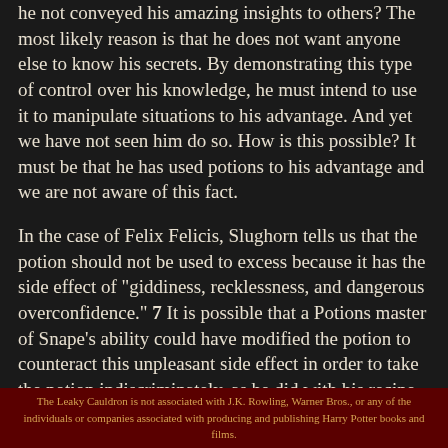he not conveyed his amazing insights to others? The most likely reason is that he does not want anyone else to know his secrets. By demonstrating this type of control over his knowledge, he must intend to use it to manipulate situations to his advantage. And yet we have not seen him do so. How is this possible? It must be that he has used potions to his advantage and we are not aware of this fact.
In the case of Felix Felicis, Slughorn tells us that the potion should not be used to excess because it has the side effect of "giddiness, recklessness, and dangerous overconfidence." 7 It is possible that a Potions master of Snape's ability could have modified the potion to counteract this unpleasant side effect in order to take the potion indiscriminately, as he did with his recipe for the Elixir to Induce Euphoria.8 But, in this essay, we assume he must be judicious with his use of the potion, and that
The Leaky Cauldron is not associated with J.K. Rowling, Warner Bros., or any of the individuals or companies associated with producing and publishing Harry Potter books and films.